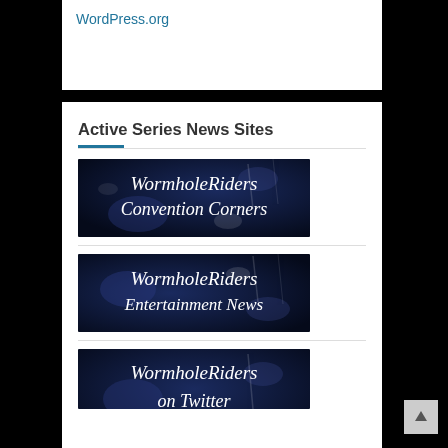WordPress.org
Active Series News Sites
[Figure (illustration): WormholeRiders Convention Corners banner with dark blue space-like background and italic white serif text]
[Figure (illustration): WormholeRiders Entertainment News banner with dark blue space-like background and italic white serif text]
[Figure (illustration): WormholeRiders on Twitter banner with dark blue space-like background and italic white serif text (partially visible)]